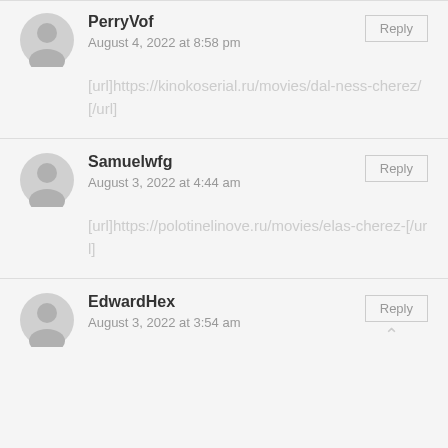PerryVof
August 4, 2022 at 8:58 pm
[url]https://kinokoserial.ru/movies/dal-ness-cherez/[/url]
Samuelwfg
August 3, 2022 at 4:44 am
[url]https://polotinelinove.ru/movies/elas-cherez-[/url]
EdwardHex
August 3, 2022 at 3:54 am
...